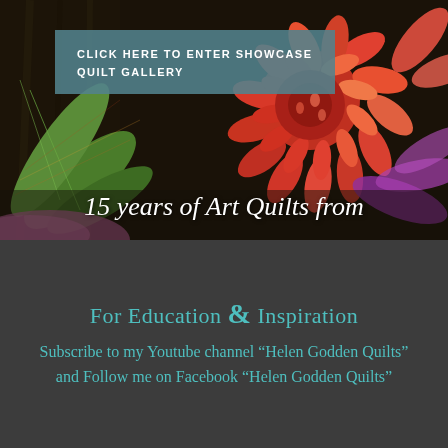[Figure (photo): Close-up colorful art quilt photo showing a large red/orange floral motif with green leaves on a dark background]
CLICK HERE TO ENTER SHOWCASE QUILT GALLERY
15 years of Art Quilts from
For Education & Inspiration
Subscribe to my Youtube channel “Helen Godden Quilts” and Follow me on Facebook “Helen Godden Quilts”